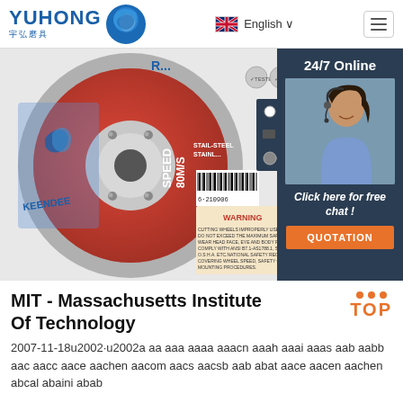YUHONG 宇弘磨具 | English | Menu
[Figure (photo): Red and grey cutting/grinding disc (KEENDEE brand, SPEED 80M/S, WARNING label with safety text, barcode 6210906) with a customer service agent photo overlay on the right showing '24/7 Online' and 'Click here for free chat!' with an orange QUOTATION button]
MIT - Massachusetts Institute Of Technology
2007-11-18u2002·u2002a aa aaa aaaa aaacn aaah aaai aaas aab aabb aac aacc aace aachen aacom aacs aacsb aab abat aace aacen aachen abcal abaini abab